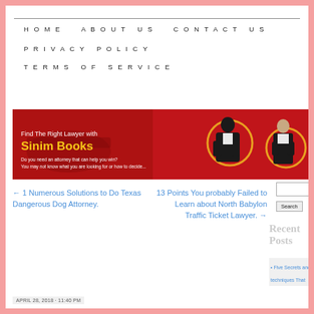HOME   ABOUT US   CONTACT US   PRIVACY POLICY   TERMS OF SERVICE
[Figure (illustration): Red banner advertisement: Find The Right Lawyer with Sinim Books. Shows two lawyers in professional attire with gold circle accents on red background. Text: Do you need an attorney that can help you win? You may not know what you are looking for or how to decide...]
← 1 Numerous Solutions to Do Texas Dangerous Dog Attorney.
13 Points You probably Failed to Learn about North Babylon Traffic Ticket Lawyer. →
Search
Recent Posts
Five Secrets and techniques That
APRIL 28, 2018 · 11:40 PM